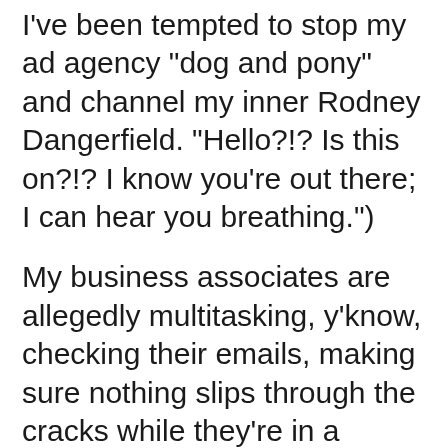I've been tempted to stop my ad agency "dog and pony" and channel my inner Rodney Dangerfield. "Hello?!? Is this on?!? I know you're out there; I can hear you breathing.")
My business associates are allegedly multitasking, y'know, checking their emails, making sure nothing slips through the cracks while they're in a meeting. But, I am fairly certain that they are also checking in with their friends and followers and fans. There's a fine line between business and pleasure when it comes to interactive communications. And the distance between your mission critical corporate project and your "live out loud" social network is typically just a click away.